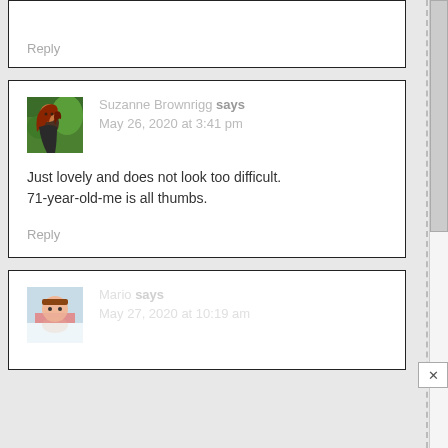Reply
Suzanne Brownrigg says
May 26, 2020 at 3:41 pm
Just lovely and does not look too difficult. 71-year-old-me is all thumbs.
Reply
Mario says
May 27, 2020 at 10:19 am